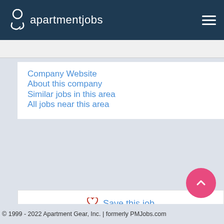apartmentjobs
Company Website
About this company
Similar jobs in this area
All jobs near this area
Save this job
© 1999 - 2022 Apartment Gear, Inc. | formerly PMJobs.com